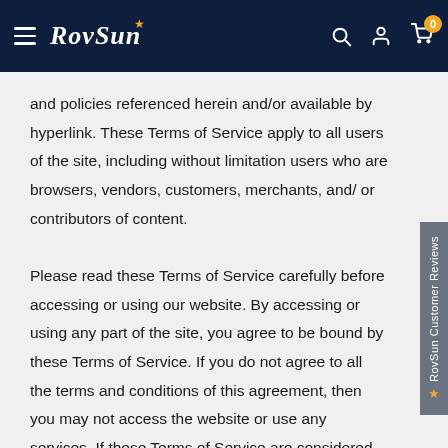RovSun — navigation header with logo, search, account, and cart icons
and policies referenced herein and/or available by hyperlink. These Terms of Service apply to all users of the site, including without limitation users who are browsers, vendors, customers, merchants, and/ or contributors of content.

Please read these Terms of Service carefully before accessing or using our website. By accessing or using any part of the site, you agree to be bound by these Terms of Service. If you do not agree to all the terms and conditions of this agreement, then you may not access the website or use any services. If these Terms of Service are considered an offer, acceptance is expressly limited to these Terms